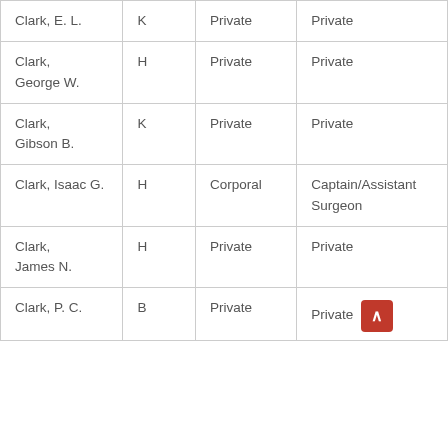| Clark, E. L. | K | Private | Private |
| Clark,
George W. | H | Private | Private |
| Clark,
Gibson B. | K | Private | Private |
| Clark, Isaac G. | H | Corporal | Captain/Assistant Surgeon |
| Clark,
James N. | H | Private | Private |
| Clark, P. C. | B | Private | Private |